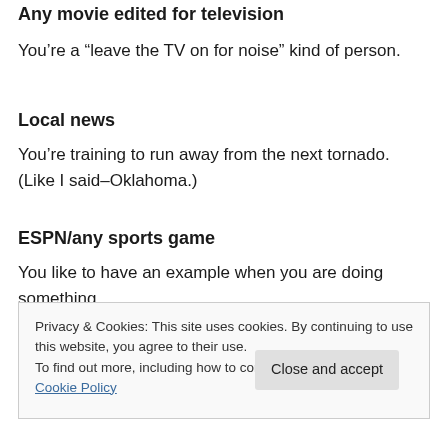Any movie edited for television
You’re a “leave the TV on for noise” kind of person.
Local news
You’re training to run away from the next tornado. (Like I said–Oklahoma.)
ESPN/any sports game
You like to have an example when you are doing something.
Privacy & Cookies: This site uses cookies. By continuing to use this website, you agree to their use.
To find out more, including how to control cookies, see here: Cookie Policy